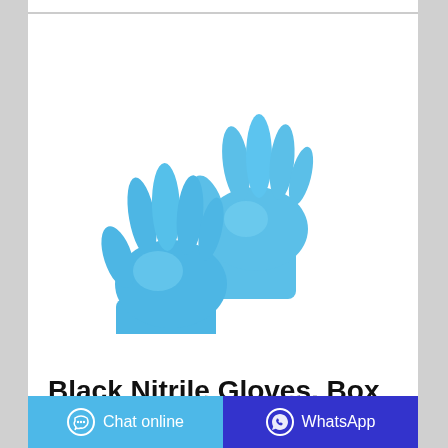[Figure (photo): Two blue nitrile disposable gloves, one behind the other, shown on a white background. The gloves are light blue in color.]
Black Nitrile Gloves, Box of 100
Chat online
WhatsApp